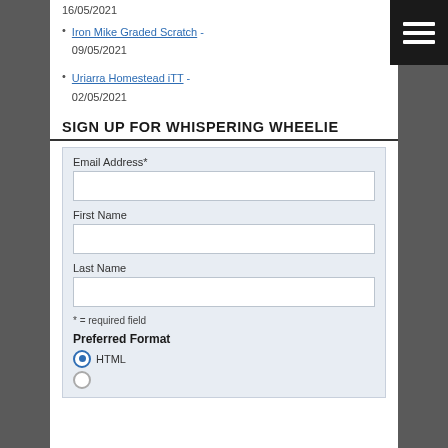16/05/2021
Iron Mike Graded Scratch - 09/05/2021
Uriarra Homestead iTT - 02/05/2021
SIGN UP FOR WHISPERING WHEELIE
Email Address*
First Name
Last Name
* = required field
Preferred Format
HTML